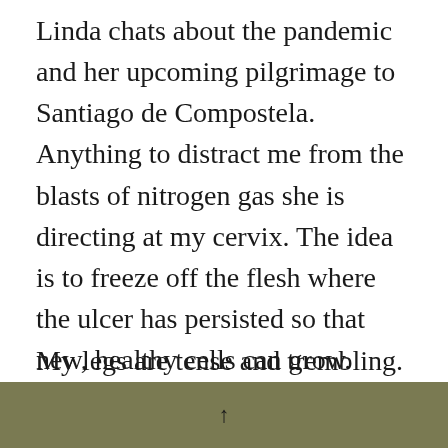Linda chats about the pandemic and her upcoming pilgrimage to Santiago de Compostela. Anything to distract me from the blasts of nitrogen gas she is directing at my cervix. The idea is to freeze off the flesh where the ulcer has persisted so that new, healthy cells can grow. Linda asks for my phone and takes some photos of the before and the during, so I know exactly what's going on. For the after, I will have to wait another month.

My legs are tense and trembling. The
↑